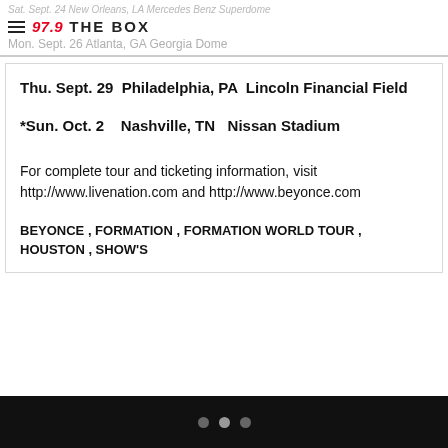Sat. Sept. 24  New Orleans, LA  Mercedes Benz Superdome
Mon. Sept. 26  Atlanta, GA  Georgia Dome
Thu. Sept. 29  Philadelphia, PA  Lincoln Financial Field
*Sun. Oct. 2   Nashville, TN   Nissan Stadium
For complete tour and ticketing information, visit http://www.livenation.com and http://www.beyonce.com
BEYONCE , FORMATION , FORMATION WORLD TOUR , HOUSTON , SHOW'S